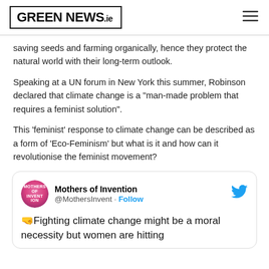GREEN NEWS.ie
saving seeds and farming organically, hence they protect the natural world with their long-term outlook.
Speaking at a UN forum in New York this summer, Robinson declared that climate change is a "man-made problem that requires a feminist solution".
This 'feminist' response to climate change can be described as a form of 'Eco-Feminism' but what is it and how can it revolutionise the feminist movement?
[Figure (screenshot): Embedded tweet from Mothers of Invention (@MothersInvent) with Follow button and Twitter bird icon. Tweet text begins: 🤜Fighting climate change might be a moral necessity but women are hitting]